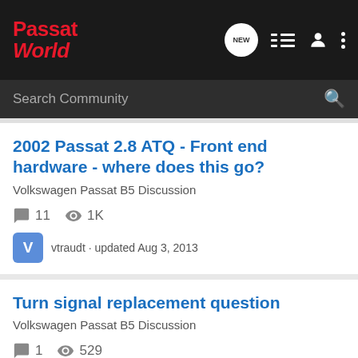Passat World
Search Community
2002 Passat 2.8 ATQ - Front end hardware - where does this go?
Volkswagen Passat B5 Discussion
11  1K
vtraudt · updated Aug 3, 2013
Turn signal replacement question
Volkswagen Passat B5 Discussion
1  529
mmuresan77 · updated Dec 7, 2010